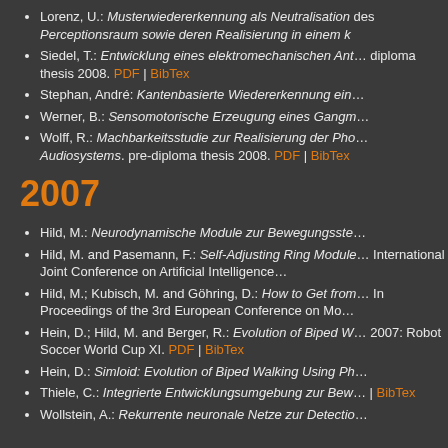Lorenz, U.: Musterwiedererkennung als Neutralisation des Perceptionsraums sowie deren Realisierung in einem k…
Siedel, T.: Entwicklung eines elektromechanischen Ant… diploma thesis 2008. PDF | BibTex
Stephan, André: Kantenbasierte Wiedererkennung ein…
Werner, B.: Sensomotorische Erzeugung eines Gangm…
Wolff, R.: Machbarkeitsstudie zur Realisierung der Pho… Audiosystems. pre-diploma thesis 2008. PDF | BibTex
2007
Hild, M.: Neurodynamische Module zur Bewegungsste…
Hild, M. and Pasemann, F.: Self-Adjusting Ring Module… International Joint Conference on Artificial Intelligence…
Hild, M.; Kubisch, M. and Göhring, D.: How to Get from… In Proceedings of the 3rd European Conference on Mo…
Hein, D.; Hild, M. and Berger, R.: Evolution of Biped W… 2007: Robot Soccer World Cup XI. PDF | BibTex
Hein, D.: Simloid: Evolution of Biped Walking Using Ph…
Thiele, C.: Integrierte Entwicklungsumgebung zur Bew… | BibTex
Wollstein, A.: Rekurrente neuronale Netze zur Detectio…